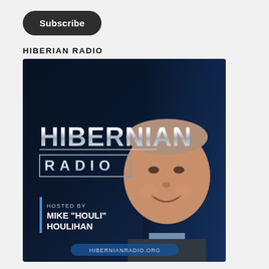Subscribe
HIBERIAN RADIO
[Figure (photo): Hibernian Radio podcast artwork featuring the text 'HIBERNIAN RADIO' in large metallic letters, with 'RADIO' in a boxed style beneath. Lower left shows 'HOSTED BY MIKE "HOULI" HOULIHAN' with a vertical bar accent. A smiling middle-aged man with grey hair is pictured on the right side. Bottom center shows 'HIBERNIANRADIO.ORG'. Dark blue/black gradient background.]